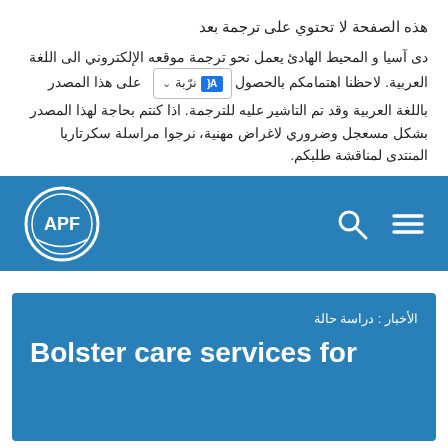هذه الصفحة لا تحتوي على ترجمة بعد
دى آسيا و المحيط الهادئ يعمل نحو ترجمة موقعه الإلكتروني الى اللغة العربية. لاحظنا اهتمامكم بالحصول على هذا المصدر باللغة العربية وقد تم التاشير عليه للترجمة. اذا كنتم بحاجة لهذا المصدر بشكل مسعجل وضروري لاغراض مهنية، نرجوا مراسلة سكرتاريا المنتدى لمناقشة طلبكم.
[Figure (logo): APF logo in white circle on blue navigation bar with search and menu icons]
الأخبار : دراسة حالة
Bolster care services for